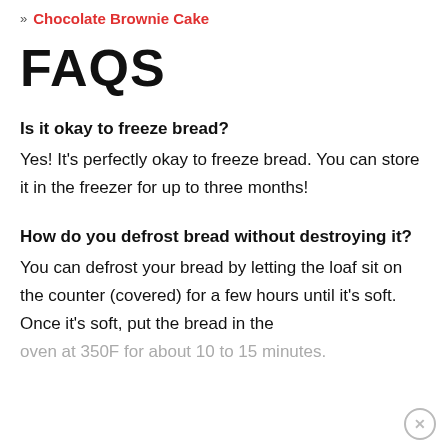» Chocolate Brownie Cake
FAQS
Is it okay to freeze bread?
Yes! It's perfectly okay to freeze bread. You can store it in the freezer for up to three months!
How do you defrost bread without destroying it?
You can defrost your bread by letting the loaf sit on the counter (covered) for a few hours until it's soft. Once it's soft, put the bread in the oven at 350F for about 10 to 15 minutes.